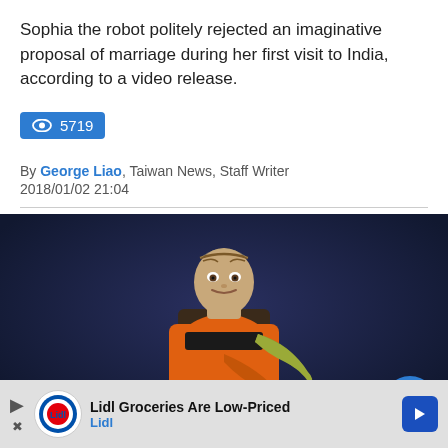Sophia the robot politely rejected an imaginative proposal of marriage during her first visit to India, according to a video release.
5719
By George Liao, Taiwan News, Staff Writer
2018/01/02 21:04
[Figure (photo): Photo of Sophia the humanoid robot wearing an orange and black sari, standing at a podium against a dark blue background]
Lidl Groceries Are Low-Priced
Lidl